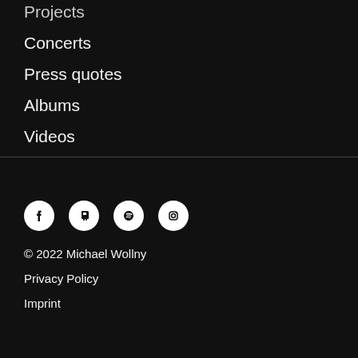Projects
Concerts
Press quotes
Albums
Videos
[Figure (infographic): Social media icons: Facebook, Apple Music, Spotify, Instagram]
© 2022 Michael Wollny
Privacy Policy
Imprint